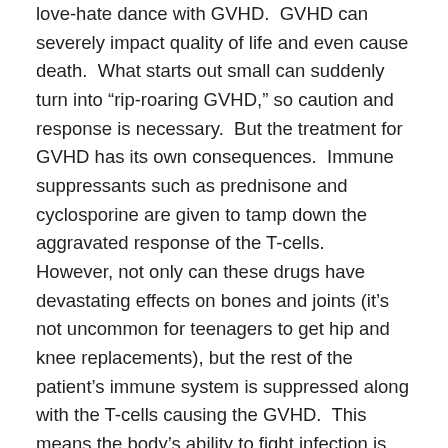love-hate dance with GVHD. GVHD can severely impact quality of life and even cause death. What starts out small can suddenly turn into “rip-roaring GVHD,” so caution and response is necessary. But the treatment for GVHD has its own consequences. Immune suppressants such as prednisone and cyclosporine are given to tamp down the aggravated response of the T-cells. However, not only can these drugs have devastating effects on bones and joints (it’s not uncommon for teenagers to get hip and knee replacements), but the rest of the patient’s immune system is suppressed along with the T-cells causing the GVHD. This means the body’s ability to fight infection is radically diminished, again sometimes resulting in death from infection. In addition to the complications to be avoided from responding with medication to GVHD, the doctors actually want some GVHD. The thing is, when the donor